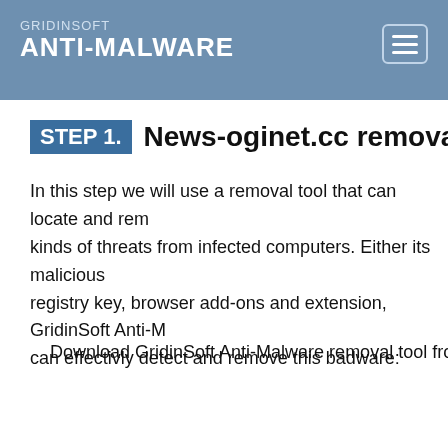GRIDINSOFT ANTI-MALWARE
STEP 1. News-oginet.cc removal g
In this step we will use a removal tool that can locate and rem kinds of threats from infected computers. Either its malicious registry key, browser add-ons and extension, GridinSoft Anti-M can effectivly detect and remove this badware:
Download GridinSoft Anti-Malware removal tool from the li
[Figure (infographic): Banner ad: red left section with SCAN YOUR PC text, blue center section with TO GET RID OF NEWS-OGINET.CC right now text, red right tab with Download vertical text, and wave/browser icon at bottom right.]